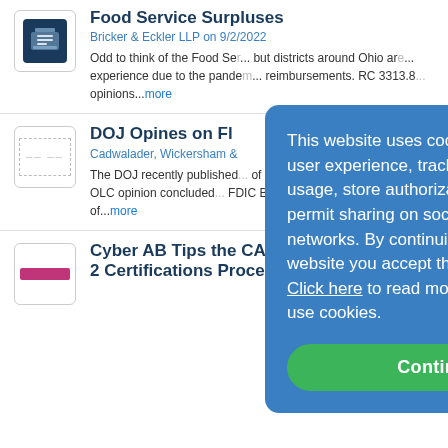Food Service Surpluses
Bricker & Eckler LLP on 9/2/2022
Odd to think of the Food Se... but districts around Ohio are... experience due to the pande... reimbursements. RC 3313.8... opinions...more
DOJ Opines on Fl
Cadwalader, Wickersham &
The DOJ recently published... of Legal Counsel (“OLC”) n... The OLC opinion concluded... FDIC Board does not have t... majority of...more
Cyber AB Tips the CAP for Level 2 Certifications Process
[Figure (other): Cookie consent popup overlay: blue rounded rectangle with text about cookies and a green Continue button]
This website uses cookies to improve user experience, track anonymous site usage, store authorization tokens and permit sharing on social media networks. By continuing to browse this website you accept the use of cookies. Click here to read more about how we use cookies.